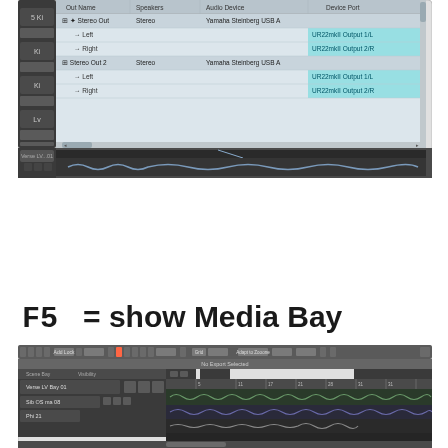[Figure (screenshot): DAW (Cubase) audio connections/output routing window showing Stereo Out and Stereo Out 2 channels with Yamaha Steinberg USB Audio device and UR22mkII Output ports, with a track editor timeline visible below]
F5 = show Media Bay
[Figure (screenshot): DAW (Cubase) project window showing toolbar, track list with multiple audio tracks, and timeline with audio waveforms]